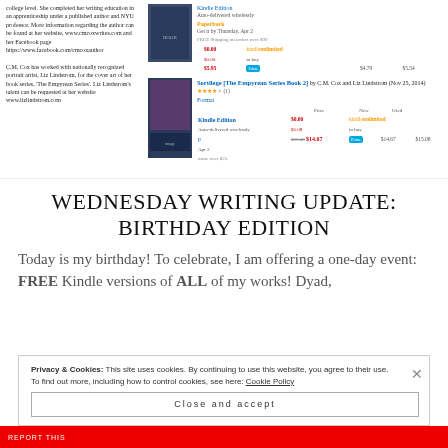college level. She completed her writing education in an apprenticeship under a published author and NYU professor. More information regarding the author can be found at her website, www.cmcoxwrites.com and her Facebook page https://www.facebook.com/cmcoxauthor

C.M. Cox has worked with nationally recognized portrait artist, Liz Lindstrom, for the cover art of her book series, 'The Empyrean Series'. Liz Lindstrom's talent can be requested at her website www.lizlindstrom.com
[Figure (screenshot): Amazon book listing screenshot showing Kindle Edition and Paperback pricing for a book, with prices $0.00 Kindle Unlimited, $5.95 Paperback]
[Figure (screenshot): Amazon listing for Sortilege (The Empyrean Series Book 2) by C.M. Cox and Liz Lindstrom showing Kindle and paperback pricing]
Wednesday Writing Update: Birthday Edition
Today is my birthday! To celebrate, I am offering a one-day event: FREE Kindle versions of ALL of my works! Dyad,
Privacy & Cookies: This site uses cookies. By continuing to use this website, you agree to their use.
To find out more, including how to control cookies, see here: Cookie Policy
Close and accept